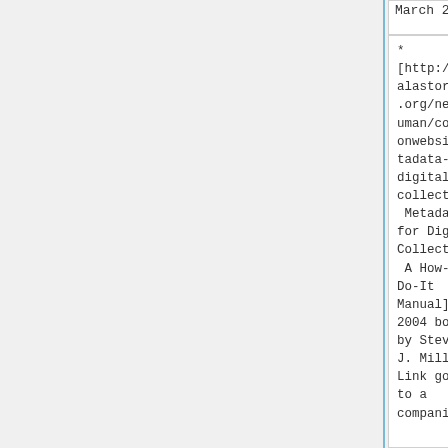March 2007).
March 2007).
* [http://www.alastore.ala.org/nealschuman/companionwebsite/metadata-digital-collections/ Metadata for Digital Collections: A How-to-Do-It Manual] - A 2004 book by Steven J. Miller. Link goes to a companion...
* [http://www.alastore.ala.org/nealschuman/companionwebsite/metadata-digital-collections/ Metadata for Digital Collections: A How-to-Do-It Manual] - A 2004 book by Steven J. Miller. Link goes to a companion...